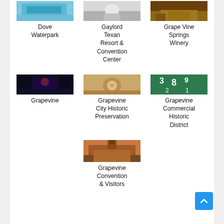[Figure (photo): Dove Waterpark photo]
Dove Waterpark
[Figure (photo): Gaylord Texan Resort & Convention Center photo]
Gaylord Texan Resort & Convention Center
[Figure (photo): Grape Vine Springs Winery photo]
Grape Vine Springs Winery
[Figure (photo): Grapevine photo - night scene]
Grapevine
[Figure (photo): Grapevine City Historic Preservation photo - fountain]
Grapevine City Historic Preservation
[Figure (photo): Grapevine Commercial Historic District photo - green numbers]
Grapevine Commercial Historic District
[Figure (photo): Grapevine Convention & Visitors photo - building at sunset]
Grapevine Convention & Visitors